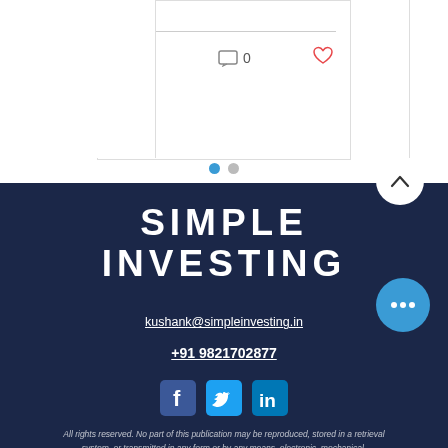[Figure (screenshot): Website card with view count 35, comment count 0, and heart/like icon]
[Figure (infographic): Two pagination dots — one blue (active), one gray]
SIMPLE INVESTING
kushank@simpleinvesting.in
+91 9821702877
[Figure (logo): Social media icons: Facebook, Twitter, LinkedIn]
All rights reserved. No part of this publication may be reproduced, stored in a retrieval system, or transmitted in any form or by any means, electronic, mechanical, photocopying, or otherwise, without written permission.